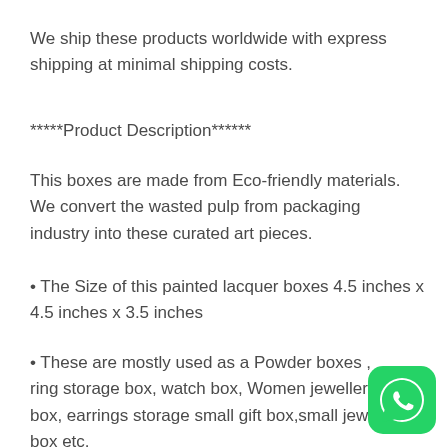We ship these products worldwide with express shipping at minimal shipping costs.
*****Product Description******
This boxes are made from Eco-friendly materials. We convert the wasted pulp from packaging industry into these curated art pieces.
• The Size of this painted lacquer boxes 4.5 inches x 4.5 inches x 3.5 inches
• These are mostly used as a Powder boxes , ring storage box, watch box, Women jewellery box, earrings storage, small gift box,small jewelry box etc.
[Figure (logo): WhatsApp logo button (green rounded square with phone icon)]